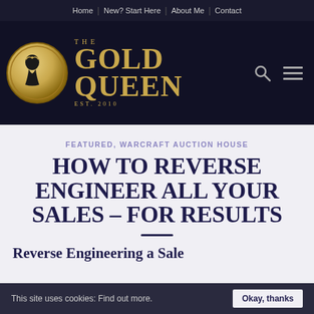Home | New? Start Here | About Me | Contact
[Figure (logo): The Gold Queen website logo: gold coin with queen silhouette on left, stylized text 'THE GOLD QUEEN EST. 2010' in gold on dark background, with search and menu icons on right]
FEATURED, WARCRAFT AUCTION HOUSE
HOW TO REVERSE ENGINEER ALL YOUR SALES – FOR RESULTS
Reverse Engineering a Sale
This site uses cookies: Find out more. Okay, thanks